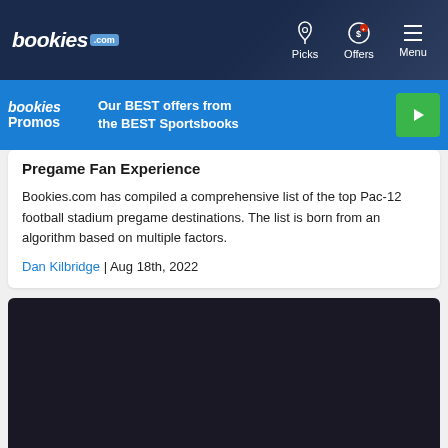bookies.com | Picks | Offers | Menu
[Figure (screenshot): Bookies Promos banner: Our BEST offers from the BEST Sportsbooks with play button]
Pregame Fan Experience
Bookies.com has compiled a comprehensive list of the top Pac-12 football stadium pregame destinations. The list is born from an algorithm based on multiple factors.
Dan Kilbridge | Aug 18th, 2022
[Figure (photo): Dark/black image block representing a photo or video content area]